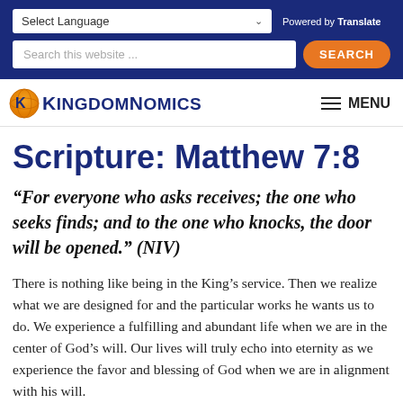Select Language | Powered by Translate | Search this website ... SEARCH
[Figure (logo): KingdomNomics logo — circular icon with globe and letter K, followed by styled text 'KingdomNomics' in dark blue]
Scripture: Matthew 7:8
“For everyone who asks receives; the one who seeks finds; and to the one who knocks, the door will be opened.” (NIV)
There is nothing like being in the King’s service. Then we realize what we are designed for and the particular works he wants us to do. We experience a fulfilling and abundant life when we are in the center of God’s will. Our lives will truly echo into eternity as we experience the favor and blessing of God when we are in alignment with his will.